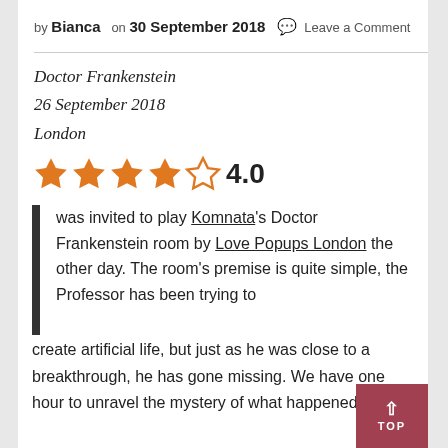by Bianca   on 30 September 2018  💬  Leave a Comment
Doctor Frankenstein
26 September 2018
London
[Figure (other): 4 filled orange stars and 1 empty star showing a rating of 4.0]
I was invited to play Komnata's Doctor Frankenstein room by Love Popups London the other day. The room's premise is quite simple, the Professor has been trying to create artificial life, but just as he was close to a breakthrough, he has gone missing. We have one hour to unravel the mystery of what happened to him.